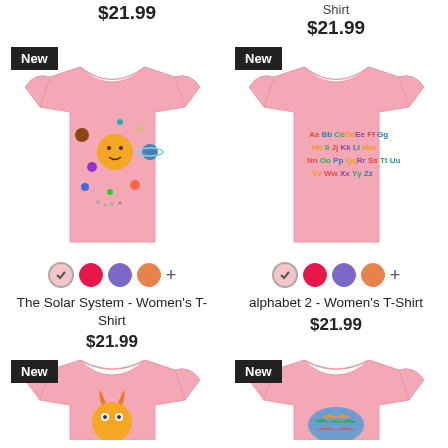$21.99
Shirt
$21.99
[Figure (photo): Pink women's t-shirt with solar system design, New badge]
The Solar System - Women's T-Shirt
$21.99
[Figure (photo): Pink women's t-shirt with colorful alphabet design, New badge]
alphabet 2 - Women's T-Shirt
$21.99
[Figure (photo): Pink women's t-shirt with orange monster design, New badge, partially visible]
[Figure (photo): Pink women's t-shirt with colorful world map design, New badge, partially visible]